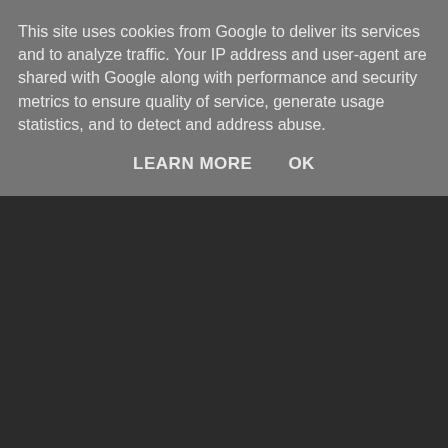This site uses cookies from Google to deliver its services and to analyze traffic. Your IP address and user-agent are shared with Google along with performance and security metrics to ensure quality of service, generate usage statistics, and to detect and address abuse.
LEARN MORE    OK
ECS for better footwear experience.
Reply
To leave a comment, click the button below to sign in with Google.
SIGN IN WITH GOOGLE
Home
View web version